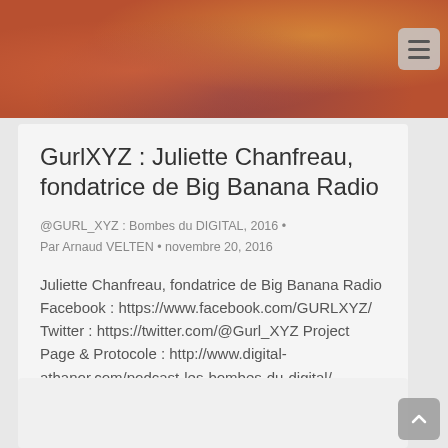[Figure (photo): Top photo bar showing a woman with colorful scarf and clothing]
GurlXYZ : Juliette Chanfreau, fondatrice de Big Banana Radio
@GURL_XYZ : Bombes du DIGITAL, 2016 • Par Arnaud VELTEN • novembre 20, 2016
Juliette Chanfreau, fondatrice de Big Banana Radio Facebook : https://www.facebook.com/GURLXYZ/ Twitter : https://twitter.com/@Gurl_XYZ Project Page & Protocole : http://www.digital-athanor.com/podcast-les-bombes-du-digital/